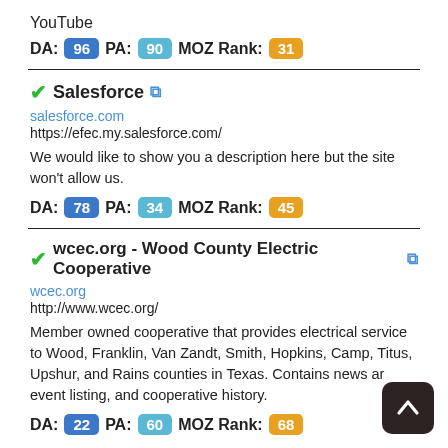YouTube
DA: 96  PA: 90  MOZ Rank: 31
✔Salesforce 🔗
salesforce.com
https://efec.my.salesforce.com/
We would like to show you a description here but the site won't allow us.
DA: 78  PA: 34  MOZ Rank: 45
✔wcec.org - Wood County Electric Cooperative 🔗
wcec.org
http://www.wcec.org/
Member owned cooperative that provides electrical service to Wood, Franklin, Van Zandt, Smith, Hopkins, Camp, Titus, Upshur, and Rains counties in Texas. Contains news and event listing, and cooperative history.
DA: 22  PA: 60  MOZ Rank: 68